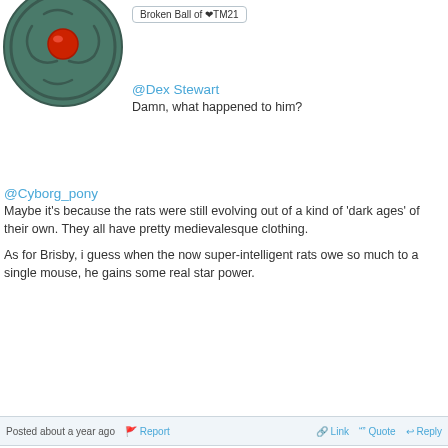[Figure (illustration): Green circular shield avatar with red gem in center and decorative swirls]
Broken Ball of ❤TM21
@Dex Stewart
Damn, what happened to him?
@Cyborg_pony
Maybe it’s because the rats were still evolving out of a kind of ‘dark ages’ of their own. They all have pretty medievalesque clothing.

As for Brisby, i guess when the now super-intelligent rats owe so much to a single mouse, he gains some real star power.
Posted about a year ago   🚩 Report      🔗 Link  ”” Quote  ↩ Reply
Cyborg_pony
@WyrmSpawN
He took on pretty much any job which…
[Figure (illustration): Anime-style pony character avatar with brown hair]
[Figure (illustration): Golden glowing pony character on purple starry background]